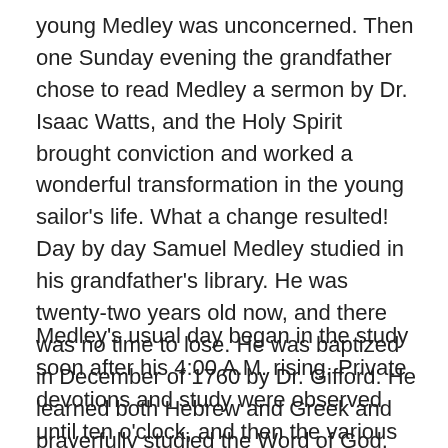young Medley was unconcerned. Then one Sunday evening the grandfather chose to read Medley a sermon by Dr. Isaac Watts, and the Holy Spirit brought conviction and worked a wonderful transformation in the young sailor's life. What a change resulted! Day by day Samuel Medley studied in his grandfather's library. He was twenty-two years old now, and there was no time to lose. He was baptized in December of 1760 by Dr. Gifford. He learned both Hebrew and Greek and prayerfully studied the Word of God.
Medley's usual day began in the study soon after his 4:00 A.M. rising. Private devotions and study were observed until ten o'clock, and then the various pastoral responsibilities among his people took place. He loved to